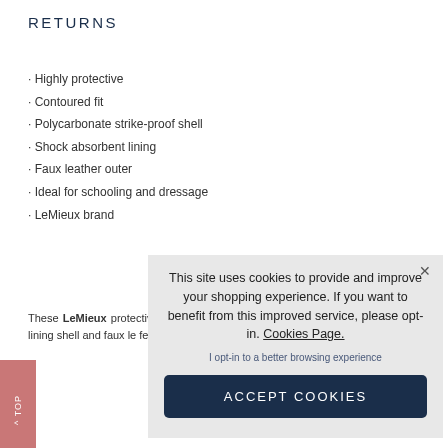RETURNS
Highly protective
Contoured fit
Polycarbonate strike-proof shell
Shock absorbent lining
Faux leather outer
Ideal for schooling and dressage
LeMieux brand
These LeMieux protective with polycarbonate s absorbent lining shell and faux le feel. Ideal for dressage work in
This site uses cookies to provide and improve your shopping experience. If you want to benefit from this improved service, please opt-in. Cookies Page.
I opt-in to a better browsing experience
ACCEPT COOKIES